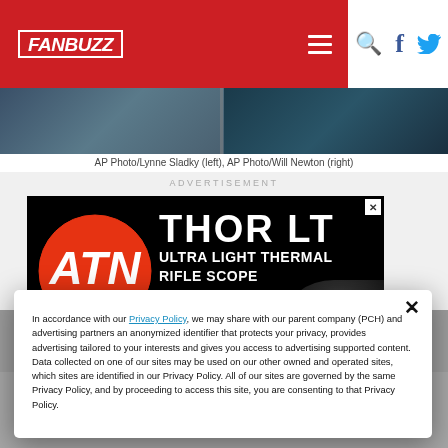[Figure (logo): FanBuzz website header with red background logo, hamburger menu, search icon, Facebook icon, and Twitter icon]
[Figure (photo): Sports photo bar showing athletes, partially cropped]
AP Photo/Lynne Sladky (left), AP Photo/Will Newton (right)
ADVERTISEMENT
[Figure (other): ATN THOR LT ULTRA LIGHT THERMAL RIFLE SCOPE advertisement banner on black background]
In accordance with our Privacy Policy, we may share with our parent company (PCH) and advertising partners an anonymized identifier that protects your privacy, provides advertising tailored to your interests and gives you access to advertising supported content. Data collected on one of our sites may be used on our other owned and operated sites, which sites are identified in our Privacy Policy. All of our sites are governed by the same Privacy Policy, and by proceeding to access this site, you are consenting to that Privacy Policy.